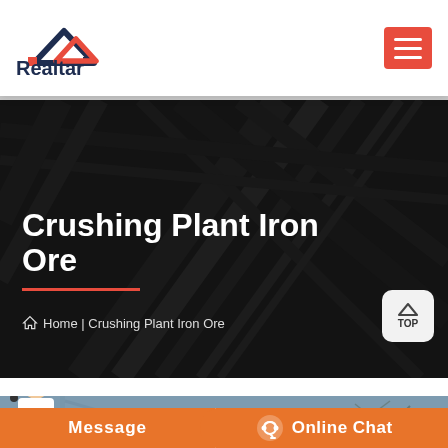Realtar
Crushing Plant Iron Ore
Home | Crushing Plant Iron Ore
[Figure (photo): Industrial crushing plant / iron ore facility with steel beams and machinery, dark toned background]
[Figure (photo): Construction crane and bare trees against a winter sky, bottom photo strip]
Message
Online Chat